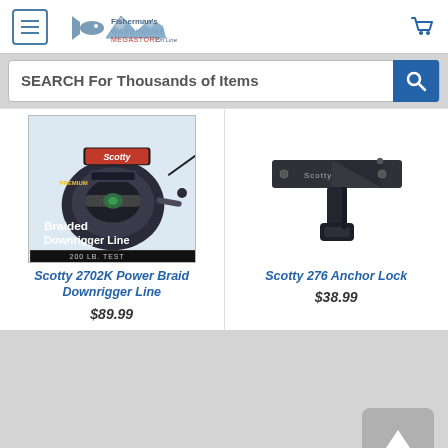Fisherman's Warehouse Megastore Online - Navigation header with menu, logo, and cart
SEARCH For Thousands of Items
[Figure (photo): Scotty branded Braided Downrigger Line product packaging photo showing a downrigger reel with 'PREMIUM Braided Downrigger Line' text and '200 LB. TEST' label]
Scotty 2702K Power Braid Downrigger Line
$89.99
[Figure (photo): Scotty 276 Anchor Lock product photo showing a dark metal bracket mount with Scotty branding]
Scotty 276 Anchor Lock
$38.99